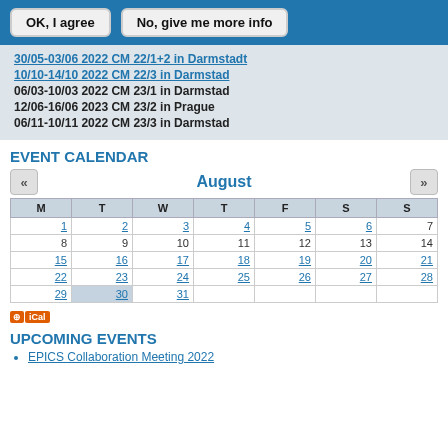OK, I agree | No, give me more info
30/05-03/06 2022 CM 22/1+2 in Darmstadt
10/10-14/10 2022 CM 22/3 in Darmstad
06/03-10/03 2022 CM 23/1 in Darmstad
12/06-16/06 2023 CM 23/2 in Prague
06/11-10/11 2022 CM 23/3 in Darmstad
EVENT CALENDAR
| M | T | W | T | F | S | S |
| --- | --- | --- | --- | --- | --- | --- |
| 1 | 2 | 3 | 4 | 5 | 6 | 7 |
| 8 | 9 | 10 | 11 | 12 | 13 | 14 |
| 15 | 16 | 17 | 18 | 19 | 20 | 21 |
| 22 | 23 | 24 | 25 | 26 | 27 | 28 |
| 29 | 30 | 31 |  |  |  |  |
UPCOMING EVENTS
EPICS Collaboration Meeting 2022